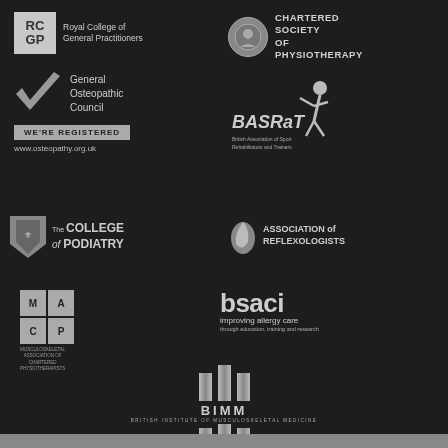[Figure (logo): Royal College of General Practitioners (RCGP) logo with text]
[Figure (logo): Chartered Society of Physiotherapy logo with text]
[Figure (logo): General Osteopathic Council checkmark logo with WE'RE REGISTERED badge and www.osteopathy.org.uk URL]
[Figure (logo): BASRaT - British Association of Sport Rehabilitators and Trainers logo]
[Figure (logo): The College of Podiatry logo with shield]
[Figure (logo): Association of Reflexologists logo]
[Figure (logo): MACP - Musculoskeletal Association of Chartered Physiotherapists logo grid]
[Figure (logo): bsaci improving allergy care through education, training and research logo]
[Figure (logo): BIMM - British Institute of Musculoskeletal Medicine logo with pillars]
[Figure (logo): Second BIMM logo partial at bottom]